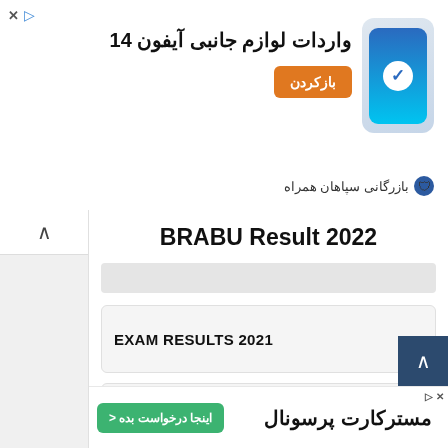[Figure (screenshot): Persian/Farsi advertisement banner for iPhone 14 accessories import with orange button and phone image]
BRABU Result 2022
[Figure (screenshot): Search bar placeholder]
EXAM RESULTS 2021 →
FREE ONLINE JOBS →
[Figure (screenshot): Persian/Farsi advertisement banner for personal mastercard with green button]